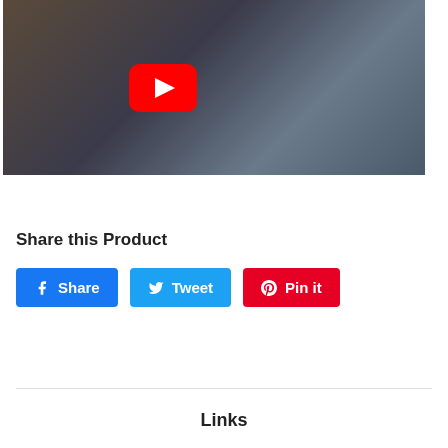[Figure (screenshot): YouTube video thumbnail showing a person playing a ukulele in a music store, with the YouTube play button overlay in red and white]
Share this Product
[Figure (other): Three social sharing buttons: Facebook Share (blue), Twitter Tweet (light blue), Pinterest Pin it (red)]
Links